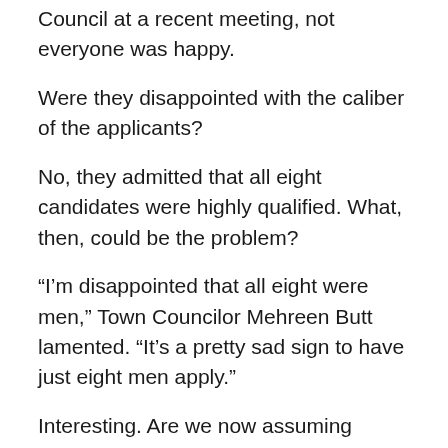Council at a recent meeting, not everyone was happy.
Were they disappointed with the caliber of the applicants?
No, they admitted that all eight candidates were highly qualified. What, then, could be the problem?
“I’m disappointed that all eight were men,” Town Councilor Mehreen Butt lamented. “It’s a pretty sad sign to have just eight men apply.”
Interesting. Are we now assuming people’s gender? Or was each candidate asked how they identify?
Because no women applied, it was assumed that there was something wrong with the way candidates were recruited. It had to be that. To believe otherwise would be to admit that there are innate differences between men and women and that men might naturally be more drawn